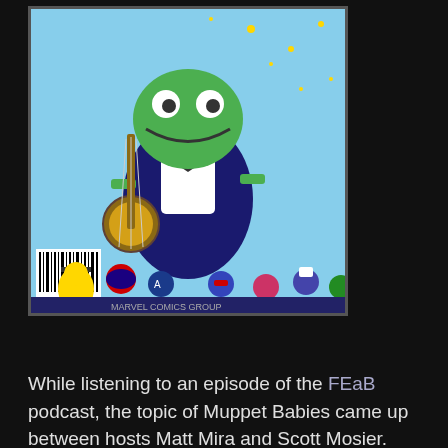[Figure (illustration): Comic book cover showing Kermit the Frog in a tuxedo playing banjo, surrounded by Marvel superhero characters. A barcode is visible in the lower left corner.]
While listening to an episode of the FEaB podcast, the topic of Muppet Babies came up between hosts Matt Mira and Scott Mosier.
The Muppet Babies cartoon featured lil kid versions of Kermit and Gonzo and all the other mainstay Muppets in imaginative day-care adventures. There were never any scenes of the Muppet kids being dropped off or picked up by parents, so it might've actually been an orphanage, I'm not positive.
As we all know, The Muppet Movie establishes that the Muppets all meet up as adults as Kermit instigates a road-trip to Hollywood to attain fame and fortune. So continuity...